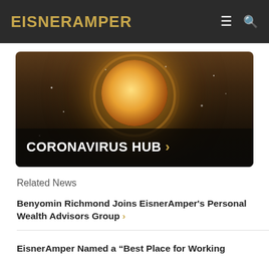EisnerAmper
[Figure (screenshot): Hero banner image showing a glowing mechanical lightbulb orb against a dark background, with the text 'CORONAVIRUS HUB >' overlaid at the bottom]
Related News
Benyomin Richmond Joins EisnerAmper's Personal Wealth Advisors Group ›
EisnerAmper Named a "Best Place for Working